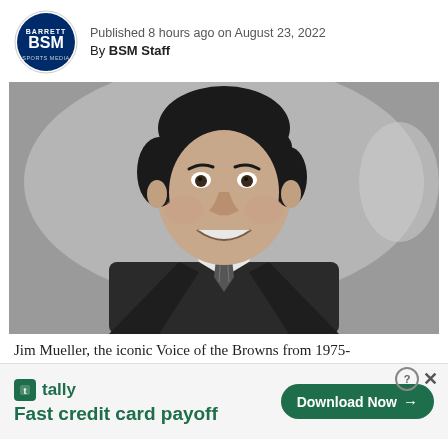Published 8 hours ago on August 23, 2022
By BSM Staff
[Figure (photo): Black and white photo of Jim Mueller, a man in a dark suit and striped tie, smiling at the camera.]
Jim Mueller, the iconic Voice of the Browns from 1975-
[Figure (other): Advertisement for Tally: 'Fast credit card payoff' with a Download Now button]